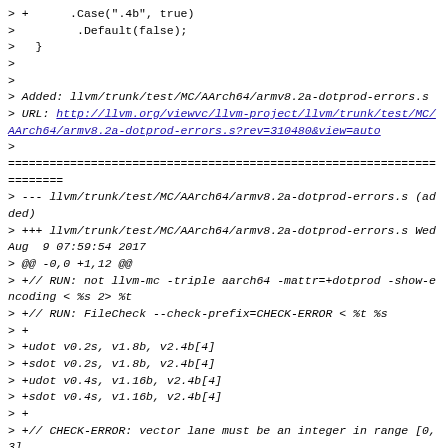> +      .Case(".4b", true)
>         .Default(false);
>   }
>
>
> Added: llvm/trunk/test/MC/AArch64/armv8.2a-dotprod-errors.s
> URL: http://llvm.org/viewvc/llvm-project/llvm/trunk/test/MC/AArch64/armv8.2a-dotprod-errors.s?rev=310480&view=auto
>
==============================================================================
> --- llvm/trunk/test/MC/AArch64/armv8.2a-dotprod-errors.s (added)
> +++ llvm/trunk/test/MC/AArch64/armv8.2a-dotprod-errors.s Wed Aug  9 07:59:54 2017
> @@ -0,0 +1,12 @@
> +// RUN: not llvm-mc -triple aarch64 -mattr=+dotprod -show-encoding < %s 2> %t
> +// RUN: FileCheck --check-prefix=CHECK-ERROR < %t %s
> +
> +udot v0.2s, v1.8b, v2.4b[4]
> +sdot v0.2s, v1.8b, v2.4b[4]
> +udot v0.4s, v1.16b, v2.4b[4]
> +sdot v0.4s, v1.16b, v2.4b[4]
> +
> +// CHECK-ERROR: vector lane must be an integer in range [0, 3]
> +// CHECK-ERROR: vector lane must be an integer in range [0, 3]